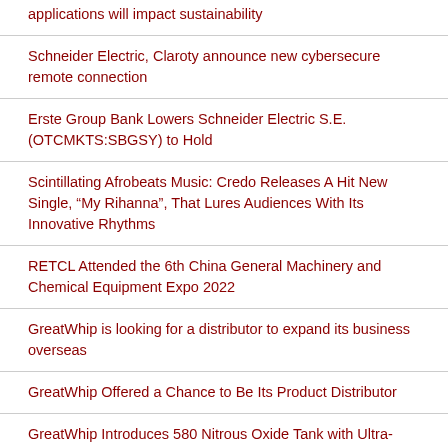applications will impact sustainability
Schneider Electric, Claroty announce new cybersecure remote connection
Erste Group Bank Lowers Schneider Electric S.E. (OTCMKTS:SBGSY) to Hold
Scintillating Afrobeats Music: Credo Releases A Hit New Single, “My Rihanna”, That Lures Audiences With Its Innovative Rhythms
RETCL Attended the 6th China General Machinery and Chemical Equipment Expo 2022
GreatWhip is looking for a distributor to expand its business overseas
GreatWhip Offered a Chance to Be Its Product Distributor
GreatWhip Introduces 580 Nitrous Oxide Tank with Ultra-Pure N2O